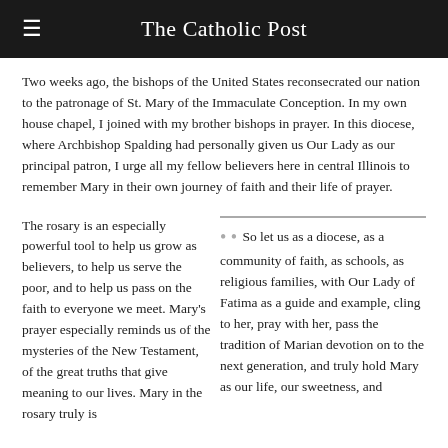The Catholic Post
Two weeks ago, the bishops of the United States reconsecrated our nation to the patronage of St. Mary of the Immaculate Conception. In my own house chapel, I joined with my brother bishops in prayer. In this diocese, where Archbishop Spalding had personally given us Our Lady as our principal patron, I urge all my fellow believers here in central Illinois to remember Mary in their own journey of faith and their life of prayer.
The rosary is an especially powerful tool to help us grow as believers, to help us serve the poor, and to help us pass on the faith to everyone we meet. Mary's prayer especially reminds us of the mysteries of the New Testament, of the great truths that give meaning to our lives. Mary in the rosary truly is
So let us as a diocese, as a community of faith, as schools, as religious families, with Our Lady of Fatima as a guide and example, cling to her, pray with her, pass the tradition of Marian devotion on to the next generation, and truly hold Mary as our life, our sweetness, and